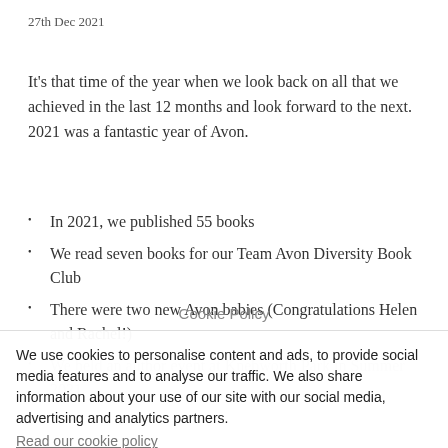27th Dec 2021
It's that time of the year when we look back on all that we achieved in the last 12 months and look forward to the next. 2021 was a fantastic year of Avon.
In 2021, we published 55 books
We read seven books for our Team Avon Diversity Book Club
There were two new Avon babies (Congratulations Helen and Rachel!)
We held an author event at Knebworth Park in Summer 2021
Cookie Policy
We use cookies to personalise content and ads, to provide social media features and to analyse our traffic. We also share information about your use of our site with our social media, advertising and analytics partners.
Read our cookie policy
Cookie settings
ACCEPT
x